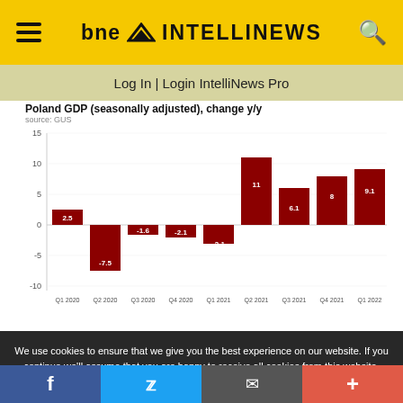bne INTELLINEWS
Log In | Login IntelliNews Pro
Poland GDP (seasonally adjusted), change y/y
source: GUS
[Figure (bar-chart): Poland GDP (seasonally adjusted), change y/y]
We use cookies to ensure that we give you the best experience on our website. If you continue we'll assume that you are happy to receive all cookies from this website. Accept  View Cookie Policy